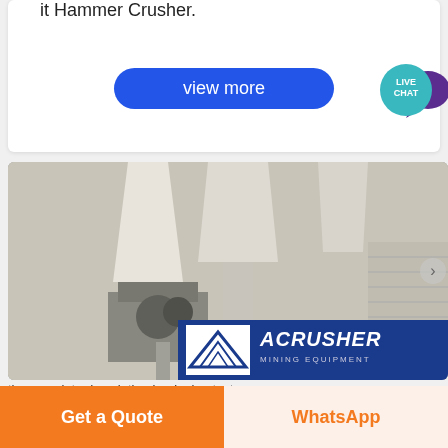it Hammer Crusher.
view more
[Figure (photo): Industrial mining/milling equipment installation inside a factory facility, showing large cone/cyclone separators, conveyor systems, and processing machinery. An ACRUSHER MINING EQUIPMENT branded panel is visible in the lower portion of the image.]
the complete description beginning text (partially visible)
Get a Quote
WhatsApp